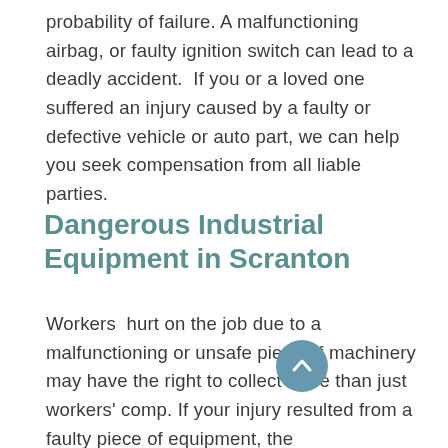probability of failure. A malfunctioning airbag, or faulty ignition switch can lead to a deadly accident.  If you or a loved one suffered an injury caused by a faulty or defective vehicle or auto part, we can help you seek compensation from all liable parties.
Dangerous Industrial Equipment in Scranton
Workers  hurt on the job due to a malfunctioning or unsafe piece of machinery may have the right to collect more than just workers' comp. If your injury resulted from a faulty piece of equipment, the